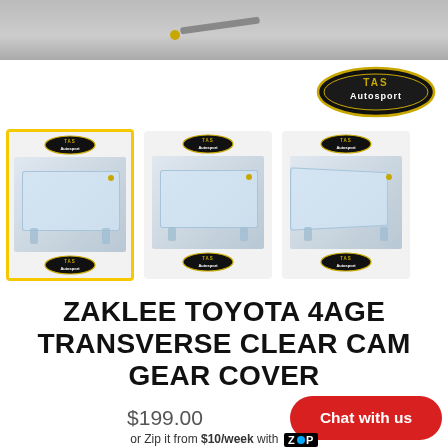[Figure (photo): Top portion of a product photo, showing metallic component detail against gray background]
[Figure (logo): TAS Autosport oval logo in gold and black]
[Figure (photo): Three thumbnail images of the Zaklee Toyota 4AGE Transverse Clear Cam Gear Cover product; first thumbnail is highlighted with yellow border]
ZAKLEE TOYOTA 4AGE TRANSVERSE CLEAR CAM GEAR COVER
$199.00
or Zip it from $10/week with Zip
Chat with us